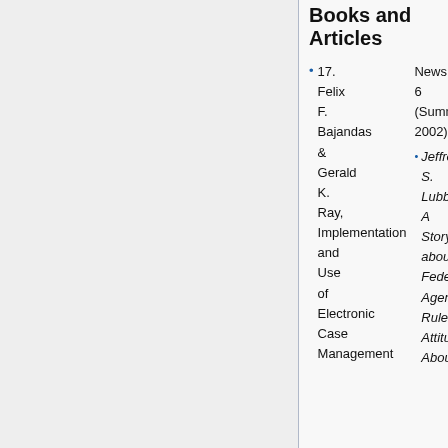Books and Articles
17. Felix F. Bajandas & Gerald K. Ray, Implementation and Use of Electronic Case Management News 6 (Summer 2002).
Jeffrey S. Lubbers, A Story about Federal Agency Rulemaking: Attitudes About